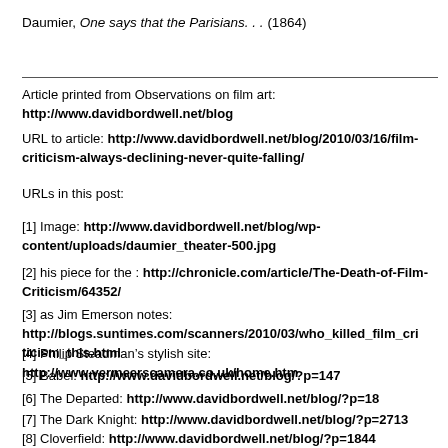Daumier, One says that the Parisians. . . (1864)
Article printed from Observations on film art:
http://www.davidbordwell.net/blog
URL to article: http://www.davidbordwell.net/blog/2010/03/16/film-criticism-always-declining-never-quite-falling/
URLs in this post:
[1] Image: http://www.davidbordwell.net/blog/wp-content/uploads/daumier_theater-500.jpg
[2] his piece for the : http://chronicle.com/article/The-Death-of-Film-Criticism/64352/
[3] as Jim Emerson notes: http://blogs.suntimes.com/scanners/2010/03/who_killed_film_criticism_this.html
[4] Philip Steadman’s stylish site: http://www.vermeerscamera.co.uk/home.htm
[5] Babel: http://www.davidbordwell.net/blog/?p=147
[6] The Departed: http://www.davidbordwell.net/blog/?p=18
[7] The Dark Knight: http://www.davidbordwell.net/blog/?p=2713
[8] Cloverfield: http://www.davidbordwell.net/blog/?p=1844